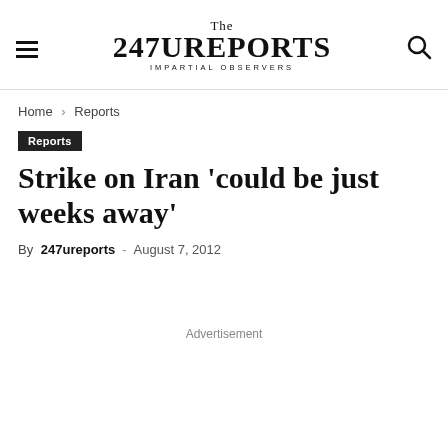The 247UREPORTS IMPARTIAL OBSERVERS
Home › Reports
Reports
Strike on Iran 'could be just weeks away'
By 247ureports - August 7, 2012
Advertisement